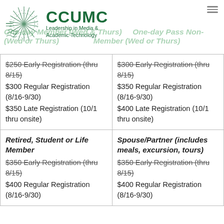[Figure (logo): CCUMC logo with sunburst graphic and text: CCUMC / Leadership in Media & Academic Technology]
| One-day Pass Member (Wed or Thurs) | One-day Pass Non-Member (Wed or Thurs) |
| --- | --- |
| $250 Early Registration (thru 8/15)
$300 Regular Registration (8/16-9/30)
$350 Late Registration (10/1 thru onsite) | $300 Early Registration (thru 8/15)
$350 Regular Registration (8/16-9/30)
$400 Late Registration (10/1 thru onsite) |
| Retired, Student or Life Member
$350 Early Registration (thru 8/15)
$400 Regular Registration (8/16-9/30) | Spouse/Partner (includes meals, excursion, tours)
$350 Early Registration (thru 8/15)
$400 Regular Registration (8/16-9/30) |